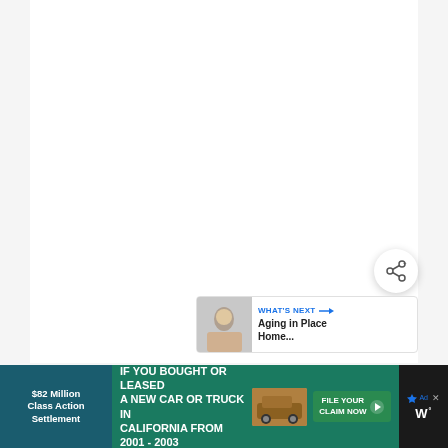[Figure (other): White blank main content area filling the upper portion of the page]
[Figure (other): Circular share button with share/add icon in bottom right area]
[Figure (other): What's Next card showing thumbnail image and title 'Aging in Place Home...']
WHAT'S NEXT → Aging in Place Home...
[Figure (other): Advertisement banner at the bottom: '$82 Million Class Action Settlement' / 'IF YOU BOUGHT OR LEASED A NEW CAR OR TRUCK IN CALIFORNIA FROM 2001 - 2003' with FILE YOUR CLAIM NOW button and car image]